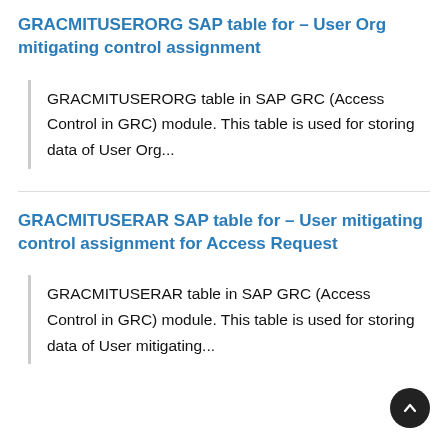GRACMITUSERORG SAP table for – User Org mitigating control assignment
GRACMITUSERORG table in SAP GRC (Access Control in GRC) module. This table is used for storing data of User Org...
GRACMITUSERAR SAP table for – User mitigating control assignment for Access Request
GRACMITUSERAR table in SAP GRC (Access Control in GRC) module. This table is used for storing data of User mitigating...